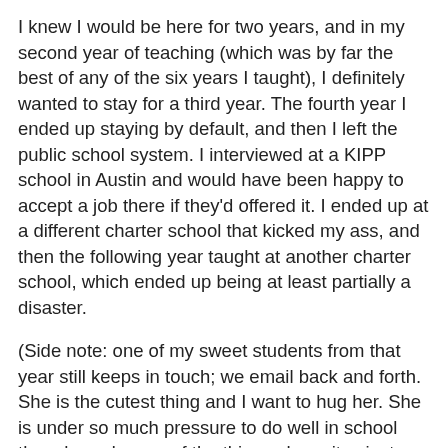I knew I would be here for two years, and in my second year of teaching (which was by far the best of any of the six years I taught), I definitely wanted to stay for a third year. The fourth year I ended up staying by default, and then I left the public school system. I interviewed at a KIPP school in Austin and would have been happy to accept a job there if they'd offered it. I ended up at a different charter school that kicked my ass, and then the following year taught at another charter school, which ended up being at least partially a disaster.
(Side note: one of my sweet students from that year still keeps in touch; we email back and forth. She is the cutest thing and I want to hug her. She is under so much pressure to do well in school though, and some of the things she writes just breaks my heart.
(Second side note re: great second year teaching: Recently I posted a status on facebook that said, "WHY can't people read?!!! Argh!" And a student from that year, who just graduated from high school (!), replied, "Because they never had English with you." !!! Could you just die? See how great